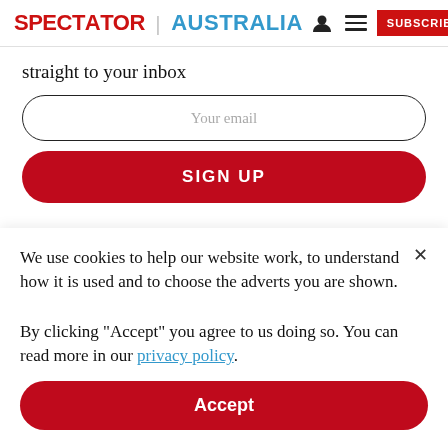SPECTATOR | AUSTRALIA
straight to your inbox
Your email
SIGN UP
We use cookies to help our website work, to understand how it is used and to choose the adverts you are shown.

By clicking "Accept" you agree to us doing so. You can read more in our privacy policy.
Accept